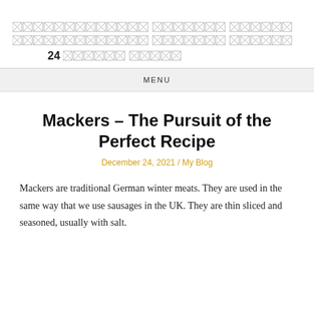[redacted header text] 24 [redacted text]
MENU
Mackers – The Pursuit of the Perfect Recipe
December 24, 2021 / My Blog
Mackers are traditional German winter meats. They are used in the same way that we use sausages in the UK. They are thin sliced and seasoned, usually with salt.